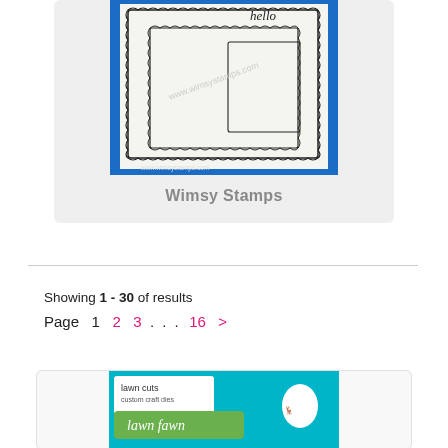[Figure (photo): Product card showing Wimsy Stamps stamp set with scalloped border frames on blue background]
Wimsy Stamps
Showing 1 - 30 of results
Page  1  2  3  . . .  16  >
[Figure (photo): Bottom of a Lawn Fawn lawn cuts custom craft dies product card with teal/blue background]